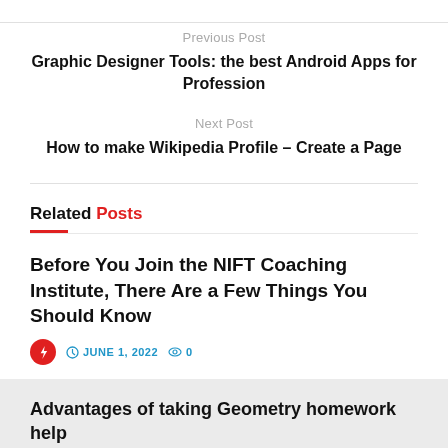Previous Post
Graphic Designer Tools: the best Android Apps for Profession
Next Post
How to make Wikipedia Profile – Create a Page
Related Posts
Before You Join the NIFT Coaching Institute, There Are a Few Things You Should Know
JUNE 1, 2022  0
Advantages of taking Geometry homework help
NOVEMBER 21, 2021  0